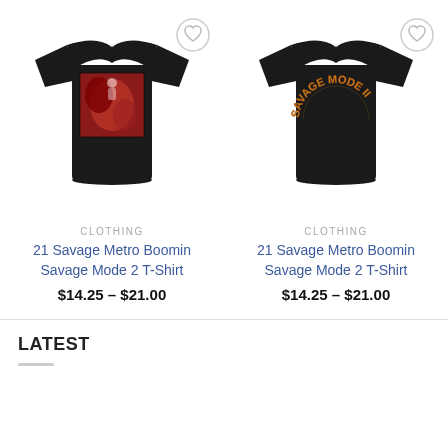[Figure (photo): Black t-shirt with red graphic print (21 Savage Metro Boomin Savage Mode 2 cover art)]
[Figure (photo): Black t-shirt with 'SAVAGE MODE II' text in gold/orange arc lettering on back]
CLOTHING
21 Savage Metro Boomin Savage Mode 2 T-Shirt
$14.25 – $21.00
CLOTHING
21 Savage Metro Boomin Savage Mode 2 T-Shirt
$14.25 – $21.00
LATEST